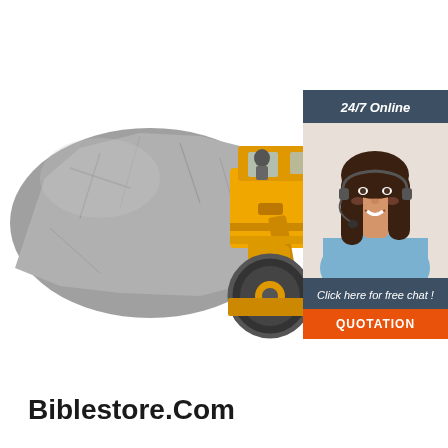[Figure (photo): A yellow front loader / wheel loader carrying a large gray boulder/rock, shown on white background]
[Figure (infographic): Chat widget with dark blue header reading '24/7 Online', photo of smiling woman with headset, dark blue footer reading 'Click here for free chat !', and orange button labeled 'QUOTATION']
Biblestore.Com